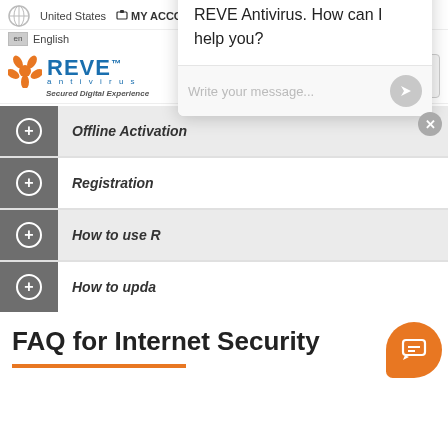United States   MY ACCOUNT   MOBILE APP
en English
[Figure (logo): REVE Antivirus logo with orange splat icon, blue REVE text, and tagline 'Secured Digital Experience']
Offline Activation
Registration
How to use R...
How to upda...
[Figure (screenshot): Chat popup with message: Hello, Thank you for visiting REVE Antivirus. How can I help you? and a Write your message... input field]
FAQ for Internet Security